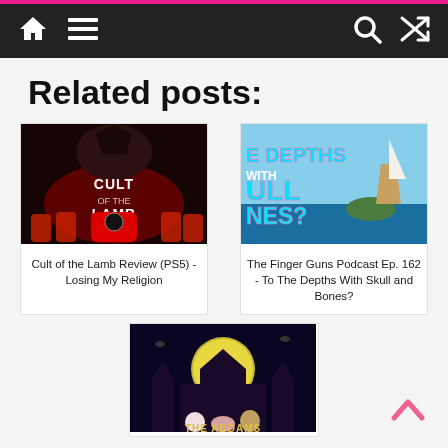Navigation bar with home, menu, search, and shuffle icons
Related posts:
[Figure (screenshot): Cult of the Lamb game cover art with red and dark demonic characters]
Cult of the Lamb Review (PS5) - Losing My Religion
[Figure (screenshot): The Finger Guns Podcast Ep. 162 - To The Depths With Skull and Bones? thumbnail with teal text and ocean scene]
The Finger Guns Podcast Ep. 162 - To The Depths With Skull and Bones?
[Figure (screenshot): The Addams Family game or movie art with characters in front of a haunted mansion under a full moon]